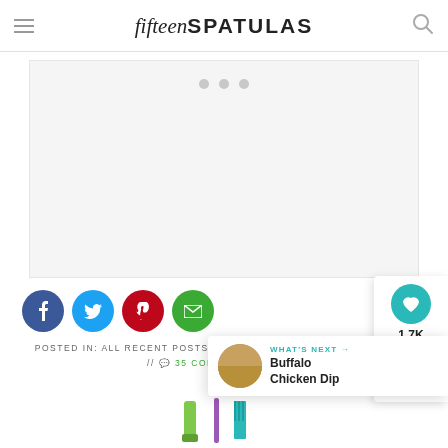fifteenSPATULAS
[Figure (other): Light gray advertisement placeholder area with three gray dots centered at the top]
[Figure (other): Social share buttons row: Facebook (dark blue), Twitter (light blue), Pinterest (red), Email (green), and a teal heart/save button and share button on the right sidebar]
POSTED IN: ALL RECENT POSTS, APPETIZERS, GLUTEN-FR... // 35 COMMENTS
[Figure (other): WHAT'S NEXT arrow: Buffalo Chicken Dip with circular food thumbnail image and fifteenSPATULAS logo/spatula icons at the bottom]
[Figure (logo): fifteenSPATULAS logo with green spatula icons at bottom of page]